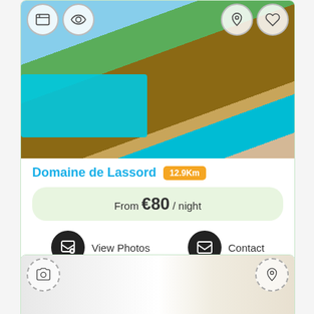[Figure (photo): Aerial/elevated view of Domaine de Lassord showing a house with terracotta roof, swimming pool, garden, and sun loungers.]
Domaine de Lassord  12.9Km
From €80 / night
View Photos
Contact
[Figure (photo): Interior photo of a modern white room with minimalist furnishings.]